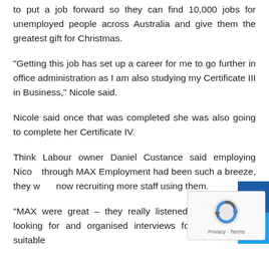to put a job forward so they can find 10,000 jobs for unemployed people across Australia and give them the greatest gift for Christmas.
"Getting this job has set up a career for me to go further in office administration as I am also studying my Certificate III in Business," Nicole said.
Nicole said once that was completed she was also going to complete her Certificate IV.
Think Labour owner Daniel Custance said employing Nicole through MAX Employment had been such a breeze, they were now recruiting more staff using them.
"MAX were great – they really listened to what I was looking for and organised interviews for me with four suitable